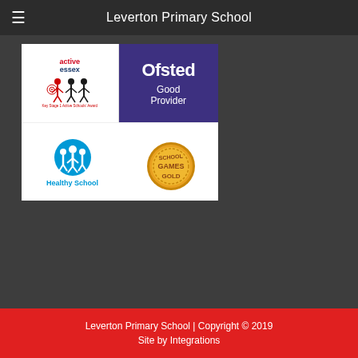Leverton Primary School
[Figure (illustration): Composite image showing four school award logos: Active Essex Key Stage 1 Active Schools Award (top-left), Ofsted Good Provider (top-right, purple background), Healthy School (bottom-left, blue circular logo with children), School Games Gold medal (bottom-right, gold coin style badge)]
Leverton Primary School | Copyright © 2019 Site by Integrations